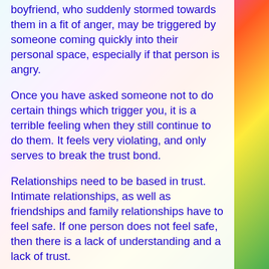boyfriend, who suddenly stormed towards them in a fit of anger, may be triggered by someone coming quickly into their personal space, especially if that person is angry.
Once you have asked someone not to do certain things which trigger you, it is a terrible feeling when they still continue to do them. It feels very violating, and only serves to break the trust bond.
Relationships need to be based in trust. Intimate relationships, as well as friendships and family relationships have to feel safe. If one person does not feel safe, then there is a lack of understanding and a lack of trust.
Without both parties feeling safe, the relationship will break down. People with PTSD can find it difficult to